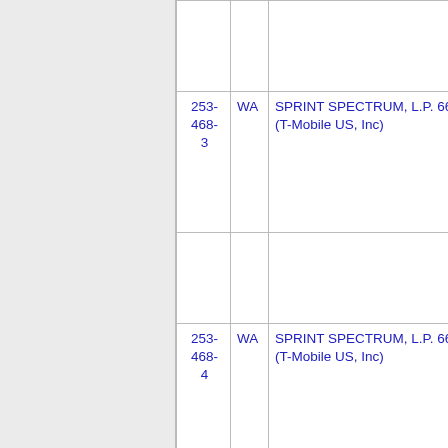| Number | State | Licensee |
| --- | --- | --- |
|  |  |  |
| 253-468-3 | WA | SPRINT SPECTRUM, L.P. 66 (T-Mobile US, Inc) |
| 253-468-4 | WA | SPRINT SPECTRUM, L.P. 66 (T-Mobile US, Inc) |